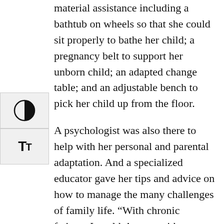material assistance including a bathtub on wheels so that she could sit properly to bathe her child; a pregnancy belt to support her unborn child; an adapted change table; and an adjustable bench to pick her child up from the floor.
A psychologist was also there to help with her personal and parental adaptation. And a specialized educator gave her tips and advice on how to manage the many challenges of family life. “With chronic fatigue, I couldn’t cope with one crisis after another. So, I had to find quick solutions to every problem.” She also got help with housework, which allowed her to get some much-needed rest.
A contribution that changed everything